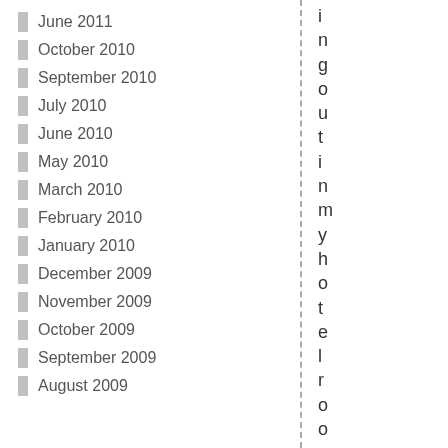June 2011
October 2010
September 2010
July 2010
June 2010
May 2010
March 2010
February 2010
January 2010
December 2009
November 2009
October 2009
September 2009
August 2009
i n g o u t i n m y h o t e l r o o m a s l e s c a p e t h